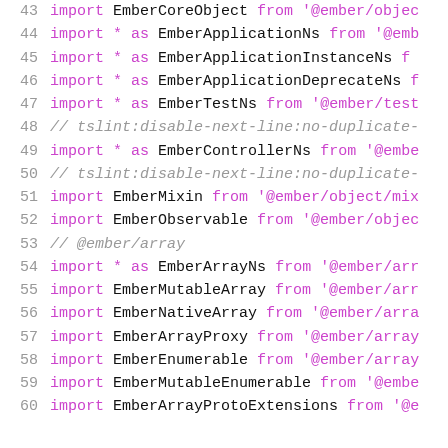43  import EmberCoreObject from '@ember/objec…
44  import * as EmberApplicationNs from '@emb…
45  import * as EmberApplicationInstanceNs f…
46  import * as EmberApplicationDeprecateNs f…
47  import * as EmberTestNs from '@ember/test…
48  // tslint:disable-next-line:no-duplicate-…
49  import * as EmberControllerNs from '@embe…
50  // tslint:disable-next-line:no-duplicate-…
51  import EmberMixin from '@ember/object/mix…
52  import EmberObservable from '@ember/objec…
53  // @ember/array
54  import * as EmberArrayNs from '@ember/arr…
55  import EmberMutableArray from '@ember/arr…
56  import EmberNativeArray from '@ember/arra…
57  import EmberArrayProxy from '@ember/array…
58  import EmberEnumerable from '@ember/array…
59  import EmberMutableEnumerable from '@embe…
60  import EmberArrayProtoExtensions from '@e…